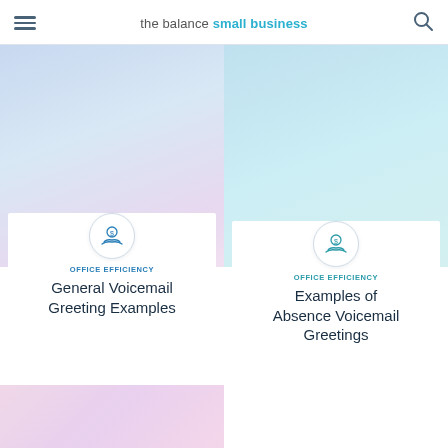the balance small business
[Figure (illustration): Card with blue-lavender gradient background, money/hand icon, category label OFFICE EFFICIENCY and title General Voicemail Greeting Examples]
[Figure (illustration): Card with light blue/teal gradient background, money/hand icon, category label OFFICE EFFICIENCY and title Examples of Absence Voicemail Greetings]